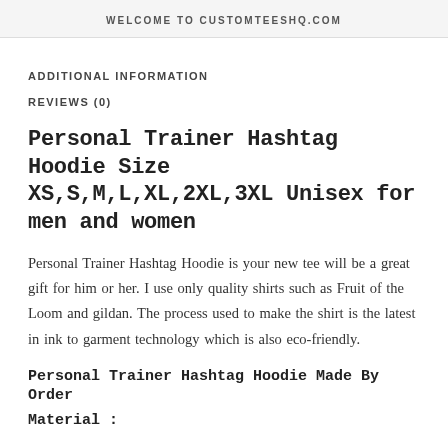WELCOME TO CUSTOMTEESHQ.COM
ADDITIONAL INFORMATION
REVIEWS (0)
Personal Trainer Hashtag Hoodie Size XS,S,M,L,XL,2XL,3XL Unisex for men and women
Personal Trainer Hashtag Hoodie is your new tee will be a great gift for him or her. I use only quality shirts such as Fruit of the Loom and gildan. The process used to make the shirt is the latest in ink to garment technology which is also eco-friendly.
Personal Trainer Hashtag Hoodie Made By Order
Material :